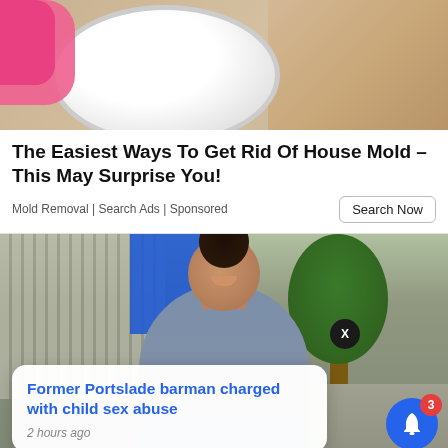[Figure (photo): Photo of a person in a pink sleeve near a white plate on a wooden surface]
The Easiest Ways To Get Rid Of House Mold – This May Surprise You!
Mold Removal | Search Ads | Sponsored
[Figure (photo): Photo of a smiling woman outdoors near a street with trees and buildings, with a notification popup overlay showing a news headline]
Former Portslade barman charged with child sex abuse
2 hours ago